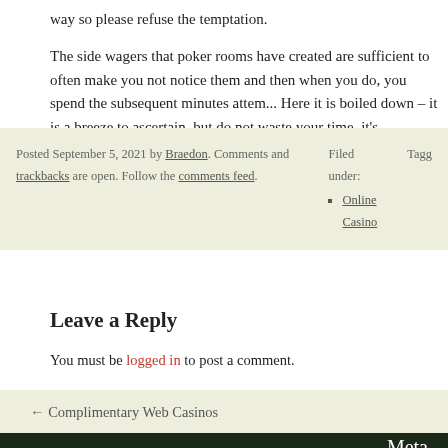way so please refuse the temptation.
The side wagers that poker rooms have created are sufficient to often make you not notice them and then when you do, you spend the subsequent minutes atten... Here it is boiled down – it is a breeze to ascertain, but do not waste your time, it's
Posted September 5, 2021 by Braedon. Comments and trackbacks are open. Follow the comments feed.
Filed under:
• Online Casino
Leave a Reply
You must be logged in to post a comment.
← Complimentary Web Casinos
Meta